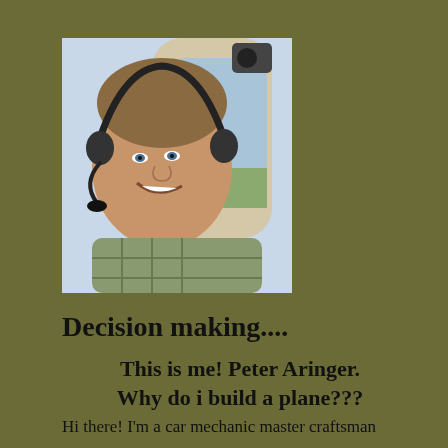[Figure (photo): Man wearing a pilot headset smiling inside a small aircraft cockpit, with a landscape visible through the window behind him.]
Decision making....
This is me! Peter Aringer.
Why do i build a plane???
Hi there! I'm a car mechanic master craftsman and...